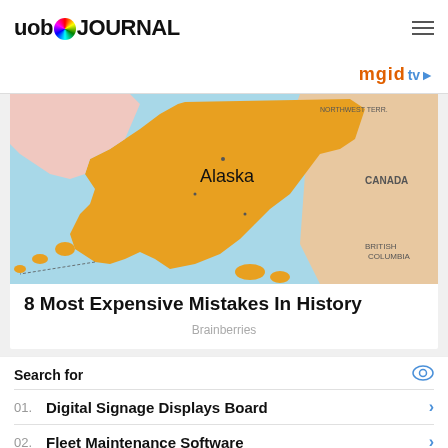uob JOURNAL
[Figure (map): Map of Alaska showing state boundaries, surrounding Canadian provinces, and the Aleutian Islands chain extending westward. Alaska is highlighted in orange/gold color.]
8 Most Expensive Mistakes In History
Brainberries
Search for
01. Digital Signage Displays Board
02. Fleet Maintenance Software
Yahoo! Search | Sponsored